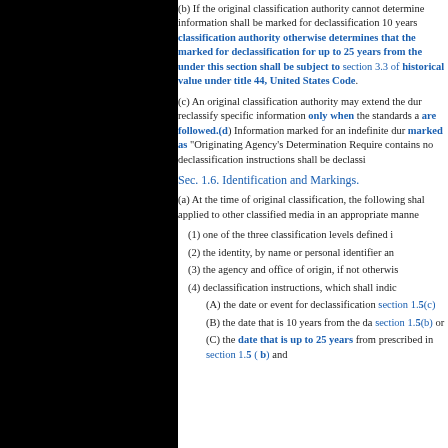(b) If the original classification authority cannot determine... information shall be marked for declassification 10 years... classification authority otherwise determines that the... marked for declassification for up to 25 years from the... under this section shall be subject to section 3.3 of... historical value under title 44, United States Code.
(c) An original classification authority may extend the duration... reclassify specific information only when the standards are followed.(d) Information marked for an indefinite duration... marked as "Originating Agency's Determination Required"... contains no declassification instructions shall be declassified...
Sec. 1.6. Identification and Markings.
(a) At the time of original classification, the following shall... applied to other classified media in an appropriate manner...
(1) one of the three classification levels defined in...
(2) the identity, by name or personal identifier and...
(3) the agency and office of origin, if not otherwise...
(4) declassification instructions, which shall indicate...
(A) the date or event for declassification... section 1.5(c)
(B) the date that is 10 years from the date... section 1.5(b) or
(C) the date that is up to 25 years from... prescribed in section 1.5 ( b) and